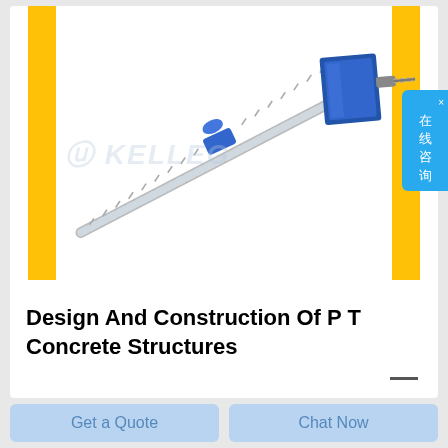[Figure (illustration): Post-tensioning anchor/tendon assembly: a long ribbed steel duct/rod running diagonally from lower-left to upper-right, with a blue cylindrical coupler in the middle, ending at an upper-right blue rectangular anchor plate with nut and protruding threaded rod. KELLEG watermark visible. Yellow vertical bars on left and right sides of the image frame.]
Design And Construction Of P T Concrete Structures
Get a Quote
Chat Now